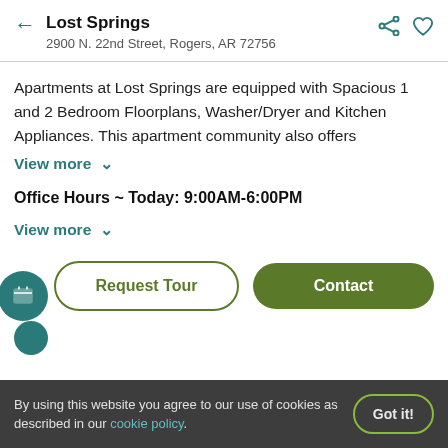Lost Springs
2900 N. 22nd Street, Rogers, AR 72756
Apartments at Lost Springs are equipped with Spacious 1 and 2 Bedroom Floorplans, Washer/Dryer and Kitchen Appliances. This apartment community also offers
View more
Office Hours ~ Today: 9:00AM-6:00PM
View more
Request Tour
Contact
By using this website you agree to our use of cookies as described in our cookie policy.
Got it!